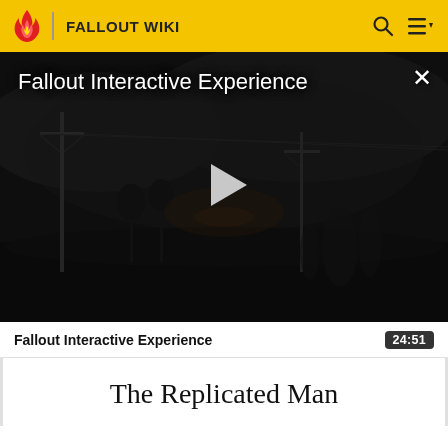FALLOUT WIKI
[Figure (screenshot): Fallout Interactive Experience video player showing dark atmospheric post-apocalyptic scene with power lines and shadowy figures. White play button triangle in center. Title 'Fallout Interactive Experience' in top-left, X close button in top-right.]
Fallout Interactive Experience   24:51
The Replicated Man